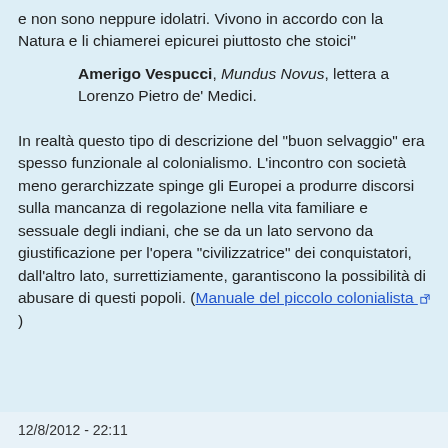e non sono neppure idolatri. Vivono in accordo con la Natura e li chiamerei epicurei piuttosto che stoici"
Amerigo Vespucci, Mundus Novus, lettera a Lorenzo Pietro de' Medici.
In realtà questo tipo di descrizione del "buon selvaggio" era spesso funzionale al colonialismo. L'incontro con società meno gerarchizzate spinge gli Europei a produrre discorsi sulla mancanza di regolazione nella vita familiare e sessuale degli indiani, che se da un lato servono da giustificazione per l'opera "civilizzatrice" dei conquistatori, dall'altro lato, surrettiziamente, garantiscono la possibilità di abusare di questi popoli. (Manuale del piccolo colonialista)
12/8/2012 - 22:11